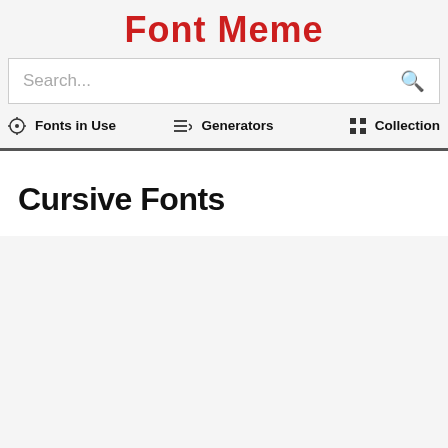Font Meme
Search...
Fonts in Use   Generators   Collection
Cursive Fonts